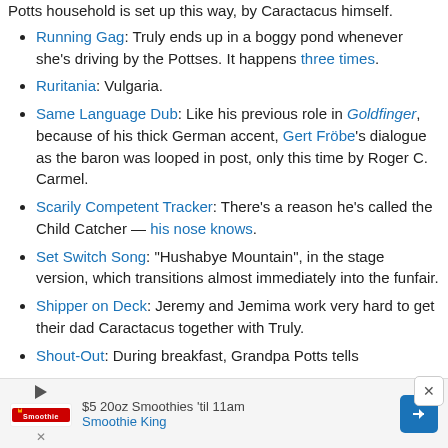Potts household is set up this way, by Caractacus himself.
Running Gag: Truly ends up in a boggy pond whenever she's driving by the Pottses. It happens three times.
Ruritania: Vulgaria.
Same Language Dub: Like his previous role in Goldfinger, because of his thick German accent, Gert Fröbe's dialogue as the baron was looped in post, only this time by Roger C. Carmel.
Scarily Competent Tracker: There's a reason he's called the Child Catcher — his nose knows.
Set Switch Song: "Hushabye Mountain", in the stage version, which transitions almost immediately into the funfair.
Shipper on Deck: Jeremy and Jemima work very hard to get their dad Caractacus together with Truly.
Shout-Out: During breakfast, Grandpa Potts tells
[Figure (screenshot): Advertisement banner at the bottom of the page for Smoothie King, showing '$5 20oz Smoothies 'til 11am', logo, and a blue navigation arrow icon. A close button (X) appears top right of the ad.]